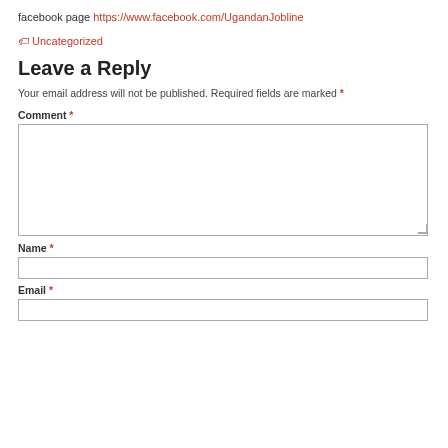facebook page https://www.facebook.com/UgandanJobline
🏷 Uncategorized
Leave a Reply
Your email address will not be published. Required fields are marked *
Comment *
Name *
Email *